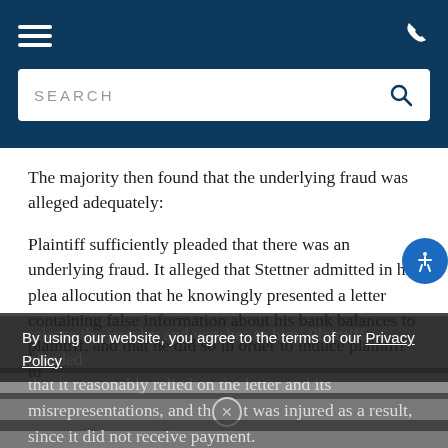SEARCH [navigation header with hamburger menu, phone icon, and search bar]
The majority then found that the underlying fraud was alleged adequately:
Plaintiff sufficiently pleaded that there was an underlying fraud. It alleged that Stettner admitted in his plea allocution that he knowingly presented a letter containing false information about his bank balances to plaintiff, and that he did so in order to induce plaintiff to release the jewelry and watches to him. Plaintiff pleaded that it reasonably relied on the letter and its misrepresentations, and that it was injured as a result, since it did not receive payment.
By using our website, you agree to the terms of our Privacy Policy